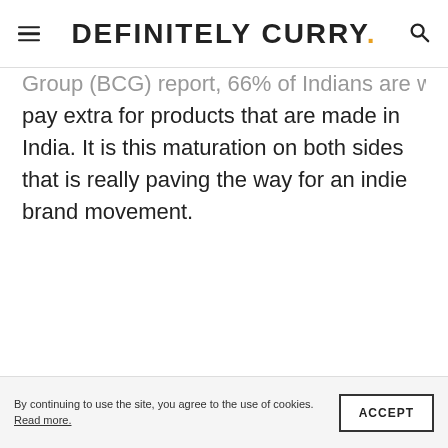DEFINITELY CURRY.
Group (BCG) report, 66% of Indians are willing to pay extra for products that are made in India. It is this maturation on both sides that is really paving the way for an indie brand movement.
By continuing to use the site, you agree to the use of cookies. Read more. ACCEPT